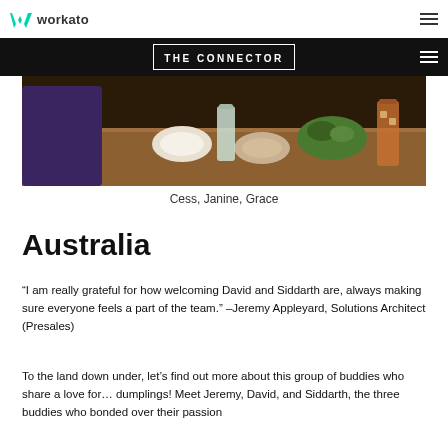workato
THE CONNECTOR
[Figure (photo): Photo of a dining table with food dishes, drinks including iced tea and water, and people seated around it — a restaurant or team lunch setting.]
Cess, Janine, Grace
Australia
“I am really grateful for how welcoming David and Siddarth are, always making sure everyone feels a part of the team.” –Jeremy Appleyard, Solutions Architect (Presales)
To the land down under, let’s find out more about this group of buddies who share a love for… dumplings! Meet Jeremy, David, and Siddarth, the three buddies who bonded over their passion